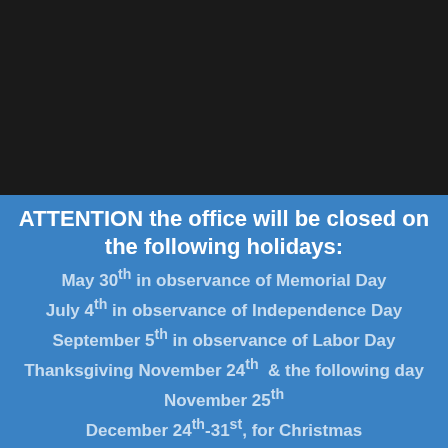[Figure (photo): Dark background image, mostly black/dark area occupying the top portion of the page]
ATTENTION the office will be closed on the following holidays:
May 30th in observance of Memorial Day
July 4th in observance of Independence Day
September 5th in observance of Labor Day
Thanksgiving November 24th  & the following day November 25th
December 24th-31st, for Christmas
New Years Day January 1st